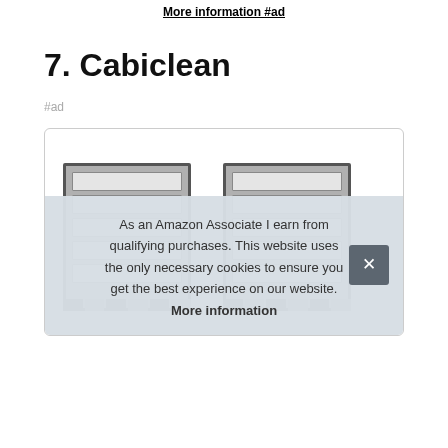More information #ad
7. Cabiclean
#ad
[Figure (photo): Product image of Cabiclean cabinet organizer shown inside a bordered card/box. Two cabinet-style product images are partially visible.]
As an Amazon Associate I earn from qualifying purchases. This website uses the only necessary cookies to ensure you get the best experience on our website. More information